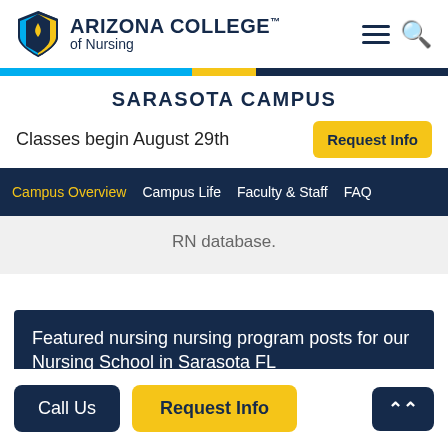ARIZONA COLLEGE of Nursing
SARASOTA CAMPUS
Classes begin August 29th
Campus Overview | Campus Life | Faculty & Staff | FAQ
RN database.
Featured nursing nursing program posts for our Nursing School in Sarasota FL
Call Us | Request Info